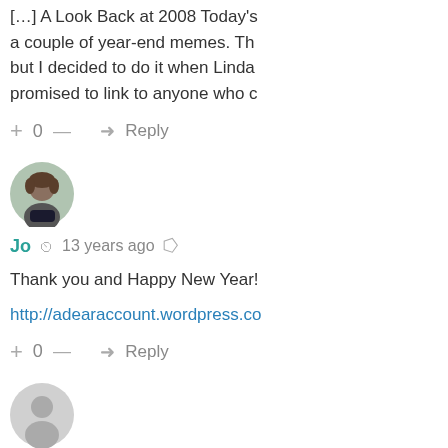[…] A Look Back at 2008 Today's a couple of year-end memes. Th but I decided to do it when Linda promised to link to anyone who c
+ 0 — ➜ Reply
[Figure (photo): Avatar photo of user Jo]
Jo ⏱ 13 years ago 🔗
Thank you and Happy New Year!
http://adearaccount.wordpress.co
+ 0 — ➜ Reply
[Figure (photo): Default avatar placeholder for user stef]
stef ⏱ 13 years ago 🔗
i have no idea how i came upon t